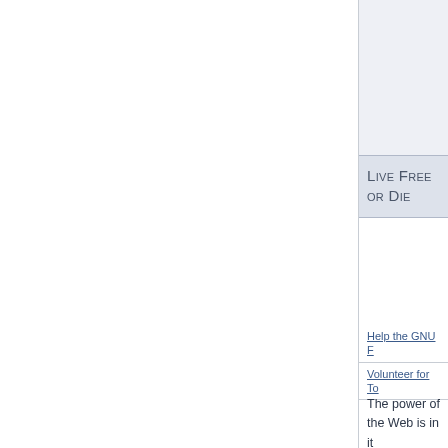Live Free or Die
Help the GNU F
Volunteer for To
The power of the Web is in its universality. Access by everyone regardless of disability is an essential aspe